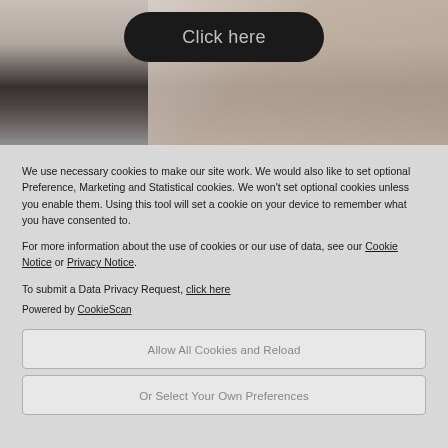[Figure (photo): Background photo of a person with light/neutral tones, partially obscured by dark gradient overlay at bottom]
[Figure (other): Dark rounded rectangle button with text 'Click here']
We use necessary cookies to make our site work. We would also like to set optional Preference, Marketing and Statistical cookies. We won't set optional cookies unless you enable them. Using this tool will set a cookie on your device to remember what you have consented to.
For more information about the use of cookies or our use of data, see our Cookie Notice or Privacy Notice.
To submit a Data Privacy Request, click here
Powered by CookieScan
Allow All Cookies and Reload
Or Select Your Own Preferences